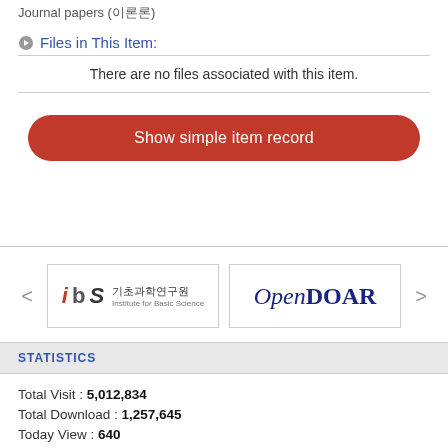Journal papers (이론론)
Files in This Item:
There are no files associated with this item.
Show simple item record
[Figure (logo): IBS 기초과학연구원 Institute for Basic Science logo]
[Figure (logo): OpenDOAR logo]
STATISTICS
Total Visit : 5,012,834
Total Download : 1,257,645
Today View : 640